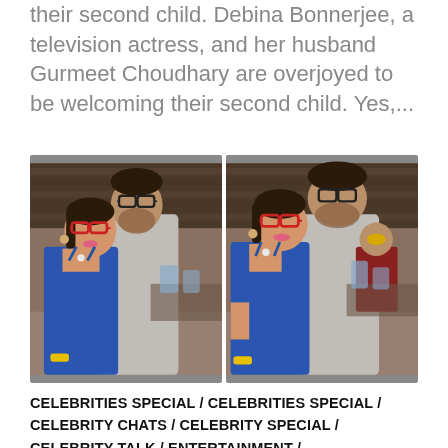their second child. Debina Bonnerjee, a television actress, and her husband Gurmeet Choudhary are overjoyed to be welcoming their second child. Yes,...
[Figure (photo): Two side-by-side photos of a couple — a woman in a blue swimsuit with red-framed glasses and braided hair, and a man in a grey tank top standing behind her. The photos appear to be taken at a restaurant/casual setting.]
CELEBRITIES SPECIAL / CELEBRITIES SPECIAL / CELEBRITY CHATS / CELEBRITY SPECIAL / CELEBRITY TALK / ENTERTAINMENT /